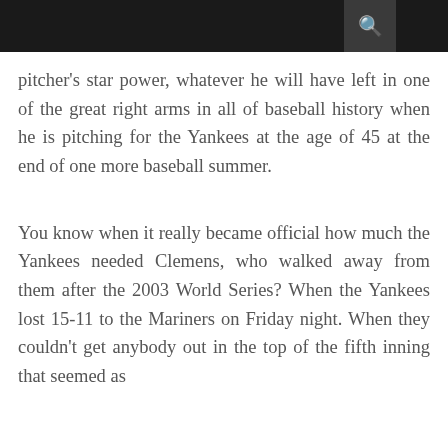pitcher's star power, whatever he will have left in one of the great right arms in all of baseball history when he is pitching for the Yankees at the age of 45 at the end of one more baseball summer.
You know when it really became official how much the Yankees needed Clemens, who walked away from them after the 2003 World Series? When the Yankees lost 15-11 to the Mariners on Friday night. When they couldn't get anybody out in the top of the fifth inning that seemed as